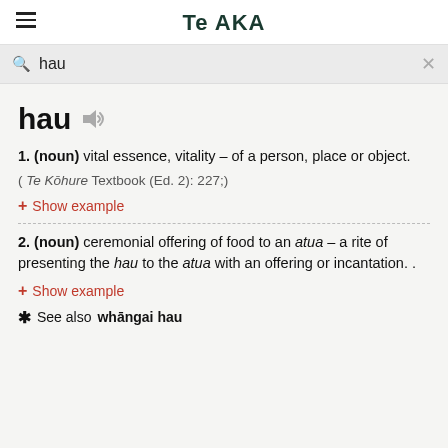Te AKA
hau (search bar)
hau
1. (noun) vital essence, vitality – of a person, place or object.
( Te Kōhure Textbook (Ed. 2): 227;)
+ Show example
2. (noun) ceremonial offering of food to an atua – a rite of presenting the hau to the atua with an offering or incantation. .
+ Show example
* See also whāngai hau